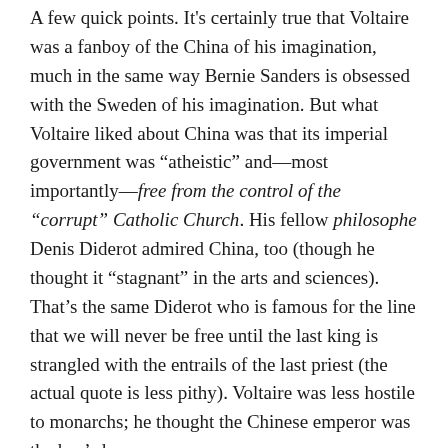A few quick points. It's certainly true that Voltaire was a fanboy of the China of his imagination, much in the same way Bernie Sanders is obsessed with the Sweden of his imagination. But what Voltaire liked about China was that its imperial government was “atheistic” and—most importantly—free from the control of the “corrupt” Catholic Church. His fellow philosophe Denis Diderot admired China, too (though he thought it “stagnant” in the arts and sciences). That’s the same Diderot who is famous for the line that we will never be free until the last king is strangled with the entrails of the last priest (the actual quote is less pithy). Voltaire was less hostile to monarchs; he thought the Chinese emperor was the bee’s knees.
But why two famously Catholic critics of the Enlightenment project should admire an essay invoking the authority of anti-Catholic Enlightenment liberals is